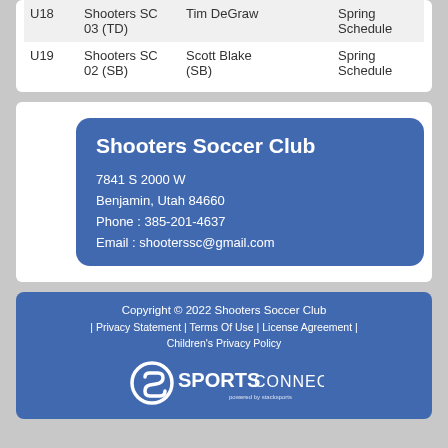|  |  |  |  |  |
| --- | --- | --- | --- | --- |
| U18 | Shooters SC 03 (TD) | Tim DeGraw |  | Spring Schedule |
| U19 | Shooters SC 02 (SB) | Scott Blake (SB) |  | Spring Schedule |
Shooters Soccer Club
7841 S 2000 W
Benjamin, Utah 84660
Phone : 385-201-4637
Email : shooterssc@gmail.com
Copyright © 2022 Shooters Soccer Club | Privacy Statement | Terms Of Use | License Agreement | Children's Privacy Policy